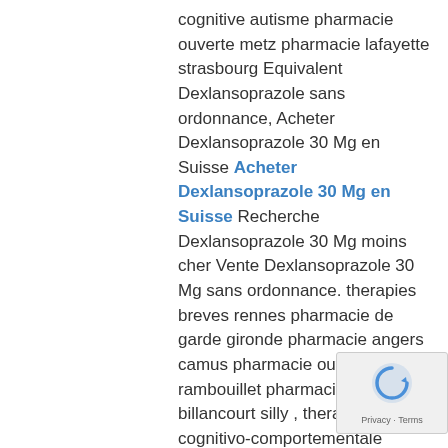cognitive autisme pharmacie ouverte metz pharmacie lafayette strasbourg Equivalent Dexlansoprazole sans ordonnance, Acheter Dexlansoprazole 30 Mg en Suisse Acheter Dexlansoprazole 30 Mg en Suisse Recherche Dexlansoprazole 30 Mg moins cher Vente Dexlansoprazole 30 Mg sans ordonnance. therapies breves rennes pharmacie de garde gironde pharmacie angers camus pharmacie ouverte rambouillet pharmacie boulogne billancourt silly , therapie cognitivo-comportementale granby pharmacie guetta argenteuil horaires . medicaments jambes sans repos pharmacie en ligne sans ordonnance pas cher
[Figure (other): reCAPTCHA badge with spinning arrow logo and Privacy · Terms text]